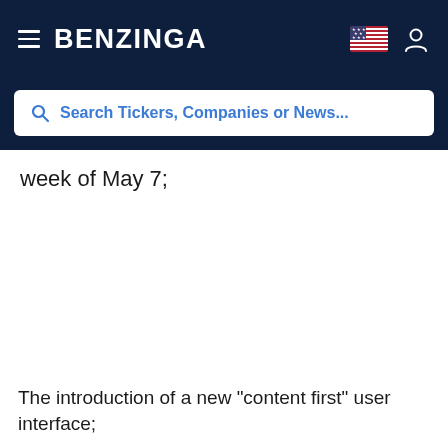BENZINGA
[Figure (screenshot): Benzinga website navigation header with hamburger menu, logo, US flag icon, and user icon on dark navy background, with a search bar below reading 'Search Tickers, Companies or News...']
week of May 7;
The introduction of a new "content first" user interface;